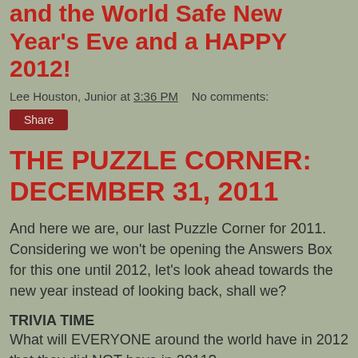and the World Safe New Year's Eve and a HAPPY 2012!
Lee Houston, Junior at 3:36 PM    No comments:
Share
THE PUZZLE CORNER: DECEMBER 31, 2011
And here we are, our last Puzzle Corner for 2011. Considering we won't be opening the Answers Box for this one until 2012, let's look ahead towards the new year instead of looking back, shall we?
TRIVIA TIME
What will EVERYONE around the world have in 2012 that they did NOT have in 2011?
THE LETTER SHUFFLE
Since everyone will probably be making some as the years change, how many other words can you make out of the